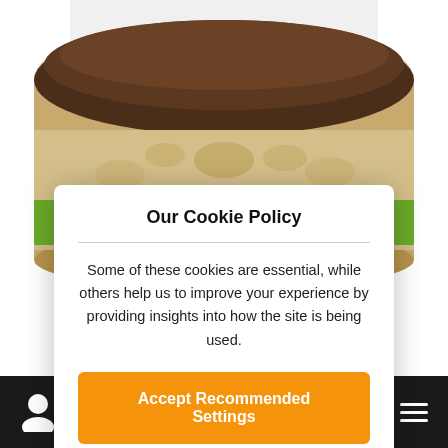[Figure (photo): Product photo of a jar of Nourishing Moisture Masque (Masque Hydratant Nourrissant) with a brown lid, gold/cream label with leaf and coffee bean decorations, and a green band showing the product name.]
Our Cookie Policy
Some of these cookies are essential, while others help us to improve your experience by providing insights into how the site is being used.
Accept Recommended Settings
Learn More